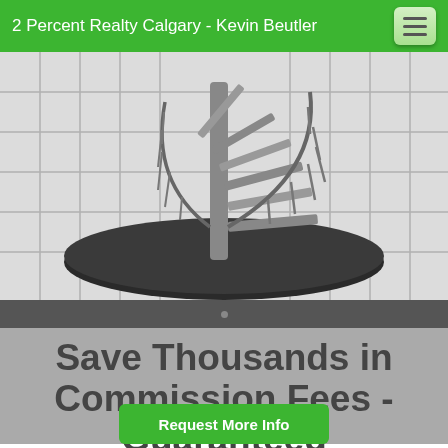2 Percent Realty Calgary - Kevin Beutler
[Figure (photo): Black and white photo of a modern spiral staircase with metal railings on a round platform, surrounded by white grid windows.]
Save Thousands in Commission Fees - Guaranteed
Request More Info